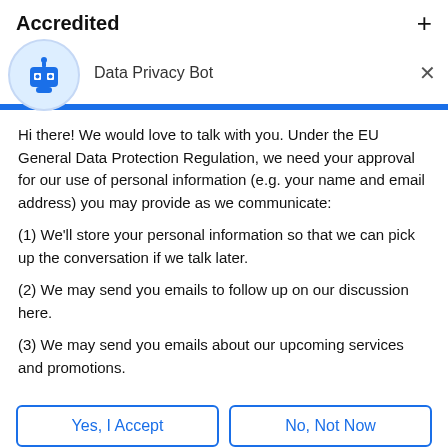Accredited
Data Privacy Bot
Hi there! We would love to talk with you. Under the EU General Data Protection Regulation, we need your approval for our use of personal information (e.g. your name and email address) you may provide as we communicate:
(1) We'll store your personal information so that we can pick up the conversation if we talk later.
(2) We may send you emails to follow up on our discussion here.
(3) We may send you emails about our upcoming services and promotions.
Yes, I Accept
No, Not Now
Chat ⚡ by Drift